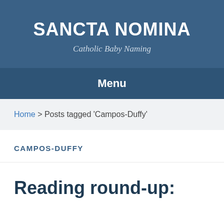SANCTA NOMINA
Catholic Baby Naming
Menu
Home > Posts tagged 'Campos-Duffy'
CAMPOS-DUFFY
Reading round-up: